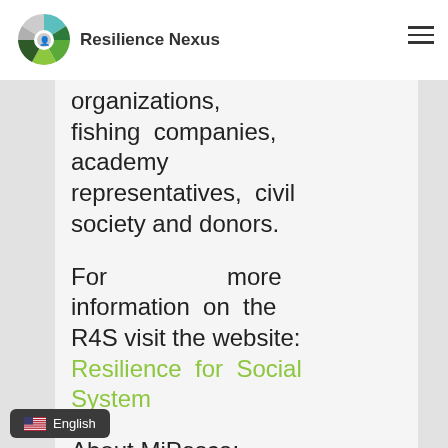Resilience Nexus
organizations, fishing companies, academy representatives, civil society and donors.
For more information on the R4S visit the website: Resilience for Social System
About MiPesca: